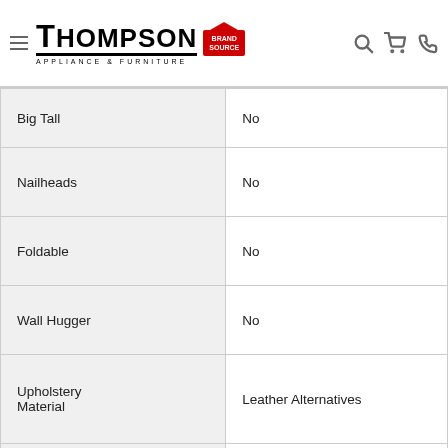Thompson Appliance & Furniture — Brand Source header with navigation icons
| Attribute | Value |
| --- | --- |
| Big Tall | No |
| Nailheads | No |
| Foldable | No |
| Wall Hugger | No |
| Upholstery Material | Leather Alternatives |
| Design Style | Contemporary |
| Age Group | Adult |